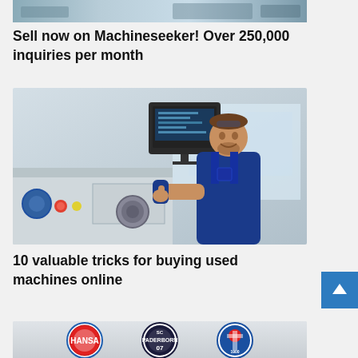[Figure (photo): Partial top image of machinery or industrial setting, cropped at the top of the page]
Sell now on Machineseeker! Over 250,000 inquiries per month
[Figure (photo): A smiling man in blue overalls working with a large lathe/CNC machine in an industrial workshop. A monitor/control unit is visible in the background.]
10 valuable tricks for buying used machines online
[Figure (photo): Bottom strip showing sports team logos: a red/white crest logo on left, SC Paderborn 07 logo in center, and Kieler SV Holstein 1900 logo on right]